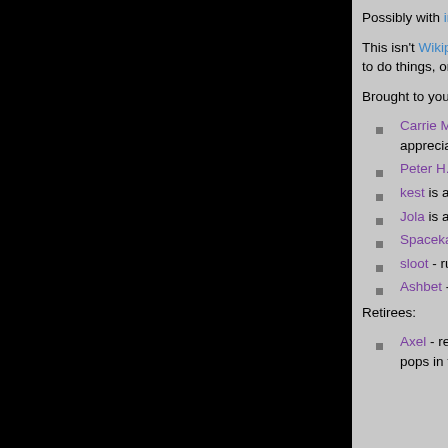Possibly with incriminating pictures.
This isn't Wikipedia so don't write the way you would there. Check out the Alt.Gothic Wiki Style Guide for how to do things, or just write. The result is likely the same.
Brought to you in part by:
Carrie Monster - Chief Bullseye, herds the goths, does the talking, gets all the shit, doesn't get appreciated.
Peter H. Coffin - Makes the technology go.
kest is avian.
Jola is a jerk but she does stuff.
Spacekadt is helpful.
sloot - runs around editing shit without thinking or asking for approval.
Ashbet - retired Bullseye
Retirees:
Axel - retired from being the Bullseye to spend more time with his Better Martini collection, but occasionally pops in to edit things, like a less hairy sloot!